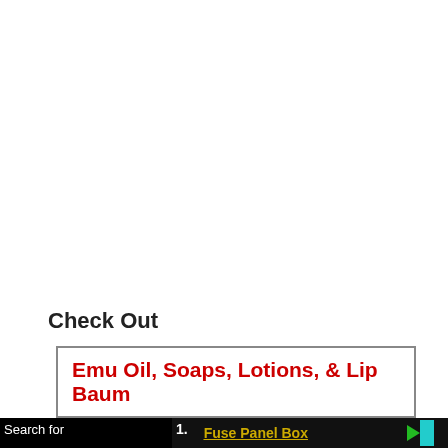Check Out
Emu Oil, Soaps, Lotions, & Lip Baum
Search for
1. Fuse Panel Box
2. Wiring Harness Diagram